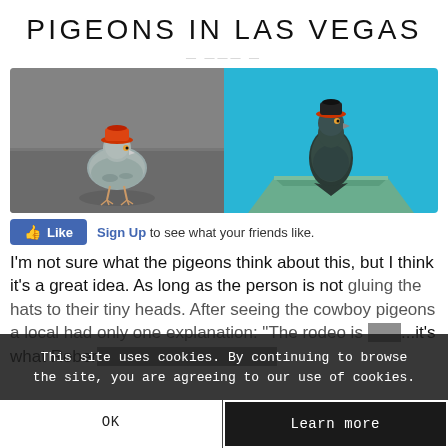PIGEONS IN LAS VEGAS
[Figure (photo): Two side-by-side photos of pigeons wearing small cowboy/hard hats. Left photo shows a pigeon on pavement with an orange/red hat against a grey background. Right photo shows a pigeon perched on a rooftop corner against a bright blue sky, also wearing a small dark hat.]
Like  Sign Up to see what your friends like.
I'm not sure what the pigeons think about this, but I think it's a great idea. As long as the person is not gluing the hats to their tiny heads. After seeing the cowboy pigeons a local had only one explanation: "The rodeo is ... it's what Robert Lee told when asked a...
This site uses cookies. By continuing to browse the site, you are agreeing to our use of cookies.
OK
Learn more